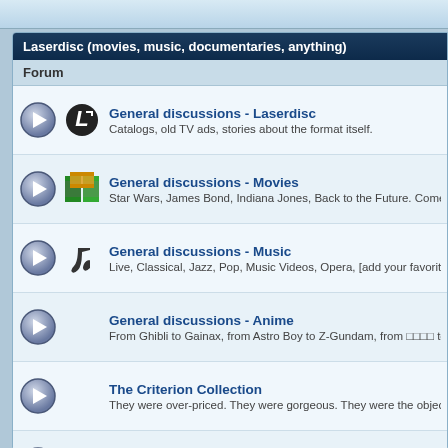Laserdisc (movies, music, documentaries, anything)
Forum
General discussions - Laserdisc
Catalogs, old TV ads, stories about the format itself.
General discussions - Movies
Star Wars, James Bond, Indiana Jones, Back to the Future. Come on, ad
General discussions - Music
Live, Classical, Jazz, Pop, Music Videos, Opera, [add your favorite here]
General discussions - Anime
From Ghibli to Gainax, from Astro Boy to Z-Gundam, from □□□□ to □□□...
The Criterion Collection
They were over-priced. They were gorgeous. They were the object of movie lo
General discussion - TV Series
Star Trek, X-Files, Columbo, Twin Peaks, and a lot more!
Soundtracks (AC3, DTS, Digital Audio)
Tell me again the story about the first Jurassic Park DTS DVD soundtrack relea
Hi-Vision, Squeeze, PAL+, HDVS and other oddities
If you believe LD was a niche market. These were the niche within the niche...
Laserdisc Reviews
Only mandatory part: use the TITLE [REF] specs (year) format for post titles w
Ex: Star Wars: The Phantom Menace [PILF-2830] NTSC/LBX/AC3/THX (199